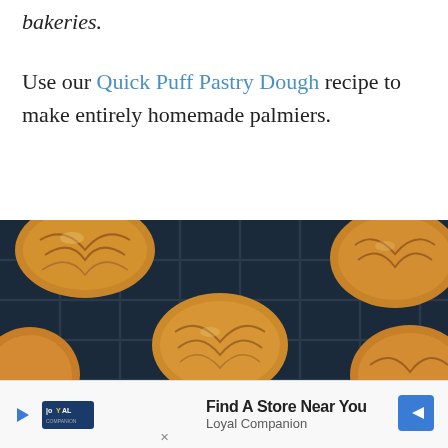bakeries.
Use our Quick Puff Pastry Dough recipe to make entirely homemade palmiers.
[Figure (photo): Overhead view of golden heart-shaped palmier cookies cooling on a dark wire rack, showing layered caramelized puff pastry.]
Find A Store Near You — Loyal Companion